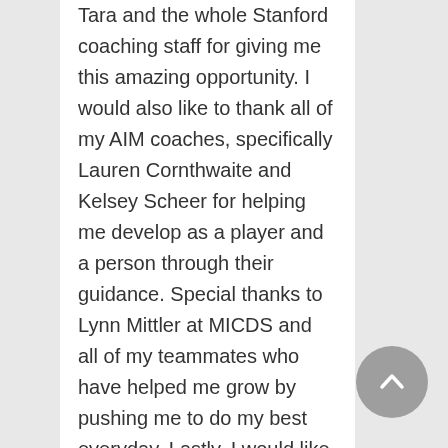Tara and the whole Stanford coaching staff for giving me this amazing opportunity. I would also like to thank all of my AIM coaches, specifically Lauren Cornthwaite and Kelsey Scheer for helping me develop as a player and a person through their guidance. Special thanks to Lynn Mittler at MICDS and all of my teammates who have helped me grow by pushing me to do my best everyday. Lastly, I would like to thank both of my parents. My mother has traveled around the country with me and no